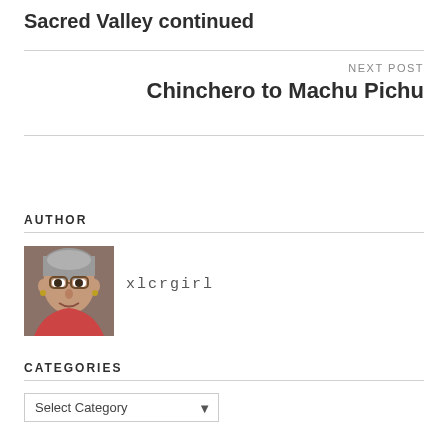Sacred Valley continued
NEXT POST
Chinchero to Machu Pichu
AUTHOR
[Figure (photo): Author avatar photo of xlcrgirl, a woman with gray hair and glasses, smiling]
xlcrgirl
CATEGORIES
Select Category